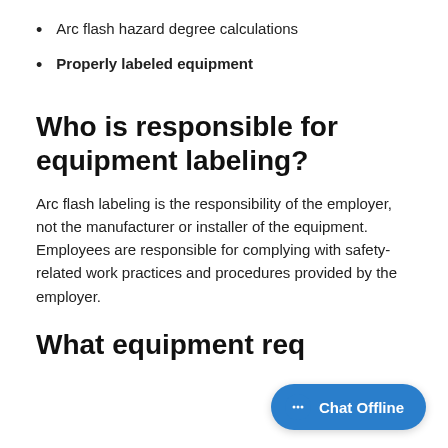Arc flash hazard degree calculations
Properly labeled equipment
Who is responsible for equipment labeling?
Arc flash labeling is the responsibility of the employer, not the manufacturer or installer of the equipment. Employees are responsible for complying with safety-related work practices and procedures provided by the employer.
What equipment requires an arc